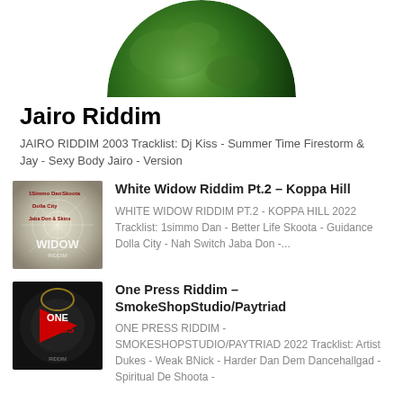[Figure (photo): Circular globe/earth image cropped at top]
Jairo Riddim
JAIRO RIDDIM 2003 Tracklist: Dj Kiss - Summer Time Firestorm & Jay - Sexy Body Jairo - Version
[Figure (photo): White Widow Riddim album cover with web graphic and artist names]
White Widow Riddim Pt.2 – Koppa Hill
WHITE WIDOW RIDDIM PT.2 - KOPPA HILL 2022 Tracklist: 1simmo Dan - Better Life Skoota - Guidance Dolla City - Nah Switch Jaba Don -...
[Figure (photo): One Press Riddim album cover with red and gold design on dark background]
One Press Riddim – SmokeShopStudio/Paytriad
ONE PRESS RIDDIM - SMOKESHOPSTUDIO/PAYTRIAD 2022 Tracklist: Artist Dukes - Weak BNick - Harder Dan Dem Dancehallgad - Spiritual De Shoota -